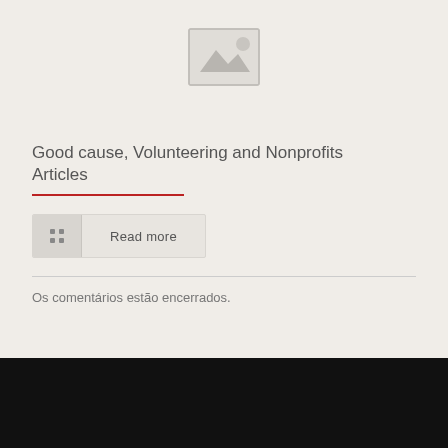[Figure (illustration): Placeholder image icon showing a landscape/photo symbol with mountains and sun, gray colored]
Good cause, Volunteering and Nonprofits Articles
Read more
Os comentários estão encerrados.
© 2022 Obeyx - Reformas e Limpezas. All Rights Reserved. Desenvolvido por: Agência Digital Web Lab